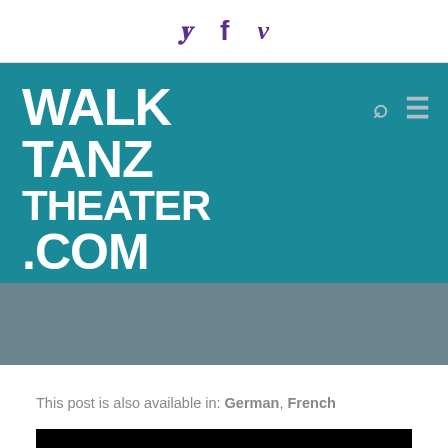Social icons: Twitter, Facebook, Vimeo
[Figure (logo): WalkTanzTheater.com logo on teal background with search and menu icons]
[Figure (photo): Gray banner section]
This post is also available in: German, French
[Figure (photo): Black image area at bottom]